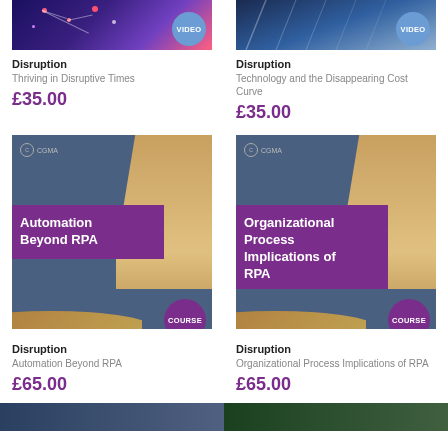[Figure (screenshot): Video thumbnail for Thriving in Disruptive Times with VIDEO badge]
Disruption
Thriving in Disruptive Times
£35.00
[Figure (screenshot): Video thumbnail for Technology and the Disappearing Cost Curve with VIDEO badge]
Disruption
Technology and the Disappearing Cost Curve
£35.00
[Figure (screenshot): CGMA course cover: Automation Beyond RPA with COURSE badge]
Disruption
Automation Beyond RPA
£65.00
[Figure (screenshot): CGMA course cover: Organizational Process Implications of RPA with COURSE badge]
Disruption
Organizational Process Implications of RPA
£65.00
[Figure (screenshot): Bottom thumbnail left - dark blue tones]
[Figure (screenshot): Bottom thumbnail right - green tones]